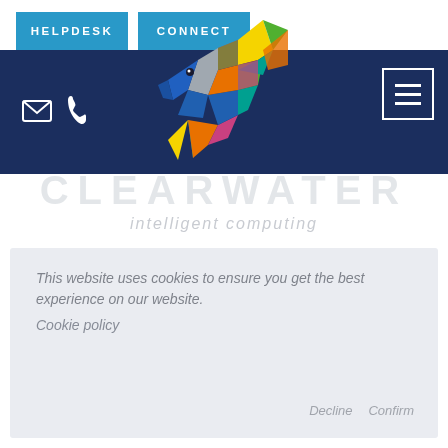HELPDESK | CONNECT
[Figure (logo): Clearwater Intelligent Computing logo: colorful geometric dolphin on dark navy navigation bar with email and phone icons on the left and hamburger menu button on the right]
CLEARWATER
intelligent computing
This website uses cookies to ensure you get the best experience on our website. Cookie policy
Decline | Confirm